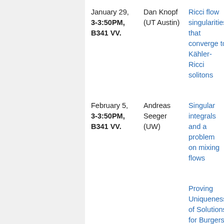| Date/Time/Location | Speaker | Title |
| --- | --- | --- |
| January 29, 3-3:50PM, B341 VV. | Dan Knopf (UT Austin) | Ricci flow singularities that converge to Kähler-Ricci solitons |
| February 5, 3-3:50PM, B341 VV. | Andreas Seeger (UW) | Singular integrals and a problem on mixing flows |
|  |  | Proving Uniqueness of Solutions for Burgers Equation Entering... |